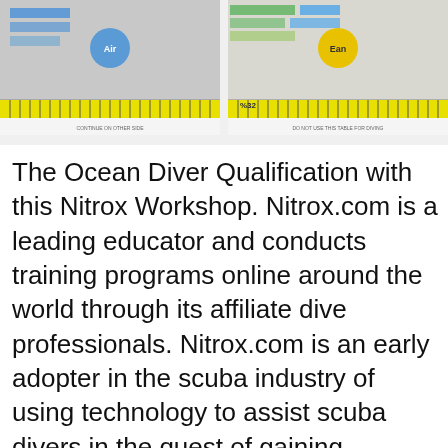[Figure (screenshot): Two side-by-side screenshots of dive table charts. Left chart has a blue circular label 'Air' and right chart has a yellow circular label 'Ean' with yellow ruler/scale along the bottom. Right chart has a '32' label.]
The Ocean Diver Qualification with this Nitrox Workshop. Nitrox.com is a leading educator and conducts training programs online around the world through its affiliate dive professionals. Nitrox.com is an early adopter in the scuba industry of using technology to assist scuba divers in the quest of gaining knowledge and experience. Thank you for your interest in Nitrox… https://en.wikipedia.org/wiki/Gas_blending_for_scuba_diving The package you are about to download is authentic and was not repacked or modified in any